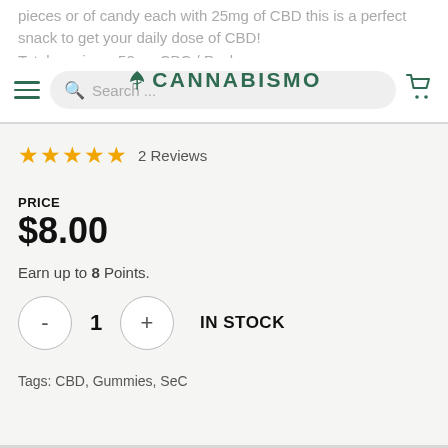pieces or of candy each with 25mg of CBD this is a perfect snack to get your daily dose of CBD!
Total servings: 50mg CBC / Pack
CANNABISMO
2 Reviews
PRICE
$8.00
Earn up to 8 Points.
1  IN STOCK
Tags: CBD, Gummies, SeC